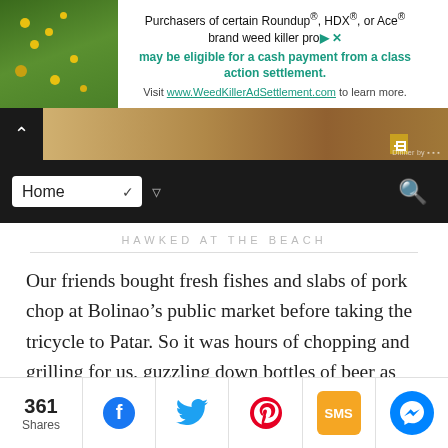[Figure (screenshot): Advertisement banner for Roundup/HDX/Ace weed killer class action settlement. Left side shows photo of yellow flowers on green foliage. Right side has teal text about eligibility for cash payment and URL www.WeedKillerAdSettlement.com]
[Figure (screenshot): Website navigation bar with dark background. Top row shows a back chevron and a hero image of food/dinner. Bottom row has a 'Home' dropdown select box, a filter icon, and a search magnifier icon.]
HAWKED AT THE BEACH
Our friends bought fresh fishes and slabs of pork chop at Bolinao's public market before taking the tricycle to Patar. So it was hours of chopping and grilling for us, guzzling down bottles of beer as we went along.
[Figure (photo): Partial view of a beach or tropical scene with teal/blue background and green palm leaf visible]
361 Shares